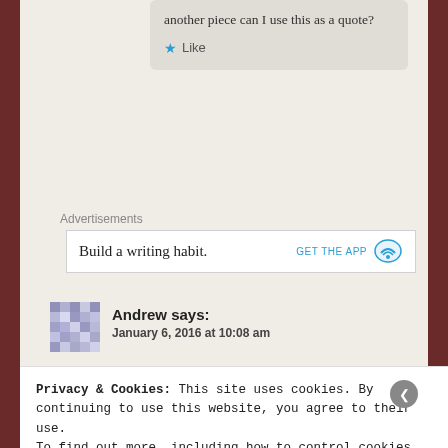another piece can I use this as a quote?
★ Like
Advertisements
Build a writing habit.
Andrew says:
January 6, 2016 at 10:08 am
Privacy & Cookies: This site uses cookies. By continuing to use this website, you agree to their use.
To find out more, including how to control cookies, see here:
Cookie Policy
Close and accept